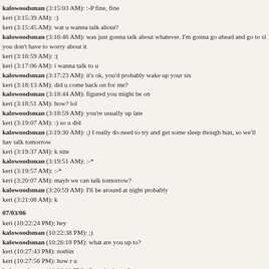kalowoodsman (3:15:03 AM): :-P fine, fine
keri (3:15:39 AM): :)
keri (3:15:45 AM): wat u wanna talk about?
kalowoodsman (3:16:46 AM): was just gonna talk about whatever. I'm gonna go ahead and go to sl you don't have to worry about it
keri (3:16:59 AM): :(
keri (3:17:06 AM): i wanna talk to u
kalowoodsman (3:17:23 AM): it's ok, you'd probably wake up your sis
keri (3:18:13 AM): did u come back on for me?
kalowoodsman (3:18:44 AM): figured you might be on
keri (3:18:51 AM): how? lol
kalowoodsman (3:18:59 AM): you're usually up late
keri (3:19:07 AM): :) so u did
kalowoodsman (3:19:30 AM): ;) I really do need to try and get some sleep though hun, so we'll hav talk tomorrow
keri (3:19:37 AM): k nite
kalowoodsman (3:19:51 AM): :-*
keri (3:19:57 AM): :-*
keri (3:20:07 AM): mayb we can talk tomorrow?
kalowoodsman (3:20:59 AM): I'll be around at night probably
keri (3:21:08 AM): k
07/03/06
keri (10:22:24 PM): hey
kalowoodsman (10:22:38 PM): ;)
kalowoodsman (10:26:18 PM): what are you up to?
keri (10:27:43 PM): nothin
keri (10:27:56 PM): how r u
kalowoodsman (10:28:11 PM): fine, tired. you?
keri (10:28:31 PM): im ok
kalowoodsman (10:28:48 PM): just ok?
keri (10:28:56 PM): yea
keri (10:31:06 PM): so wat have u been up to?
kalowoodsman (10:31:18 PM): working, gym
keri (10:31:30 PM): cool
keri (10:34:34 PM): ur new myspace pic is kinda scary
keri (10:34:41 PM): lol
kalowoodsman (10:34:45 PM): ?